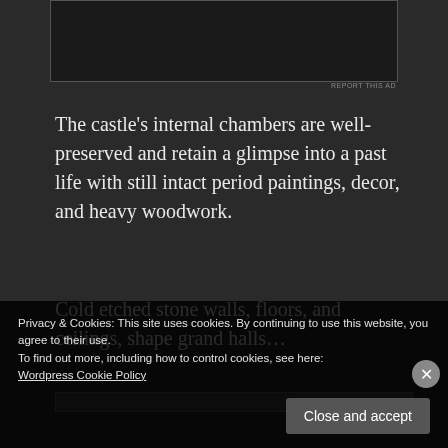[Figure (other): Advertisement image area at top, dark rectangle]
REPORT THIS AD
The castle’s internal chambers are well-preserved and retain a glimpse into a past life with still intact period paintings, decor, and heavy woodwork.
Cold etched stone walls, floors, and ceilings, shape grand halls…
[Figure (photo): Partial image strip visible at bottom of main content area]
Privacy & Cookies: This site uses cookies. By continuing to use this website, you agree to their use.
To find out more, including how to control cookies, see here: Wordpress Cookie Policy